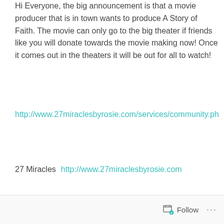Hi Everyone, the big announcement is that a movie producer that is in town wants to produce A Story of Faith. The movie can only go to the big theater if friends like you will donate towards the movie making now! Once it comes out in the theaters it will be out for all to watch!
http://www.27miraclesbyrosie.com/services/community.php
27 Miracles   http://www.27miraclesbyrosie.com
Follow ...